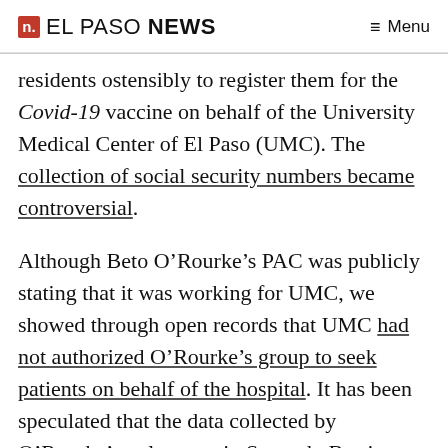n. EL PASO NEWS   ≡ Menu
residents ostensibly to register them for the Covid-19 vaccine on behalf of the University Medical Center of El Paso (UMC). The collection of social security numbers became controversial.
Although Beto O’Rourke’s PAC was publicly stating that it was working for UMC, we showed through open records that UMC had not authorized O’Rourke’s group to seek patients on behalf of the hospital. It has been speculated that the data collected by O’Rourke’s volunteers in Segundo Barrio were for determining which